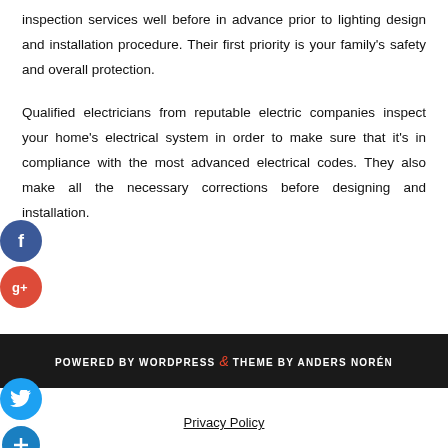inspection services well before in advance prior to lighting design and installation procedure. Their first priority is your family's safety and overall protection.
Qualified electricians from reputable electric companies inspect your home's electrical system in order to make sure that it's in compliance with the most advanced electrical codes. They also make all the necessary corrections before designing and installation.
POWERED BY WORDPRESS & THEME BY ANDERS NORÉN
Privacy Policy